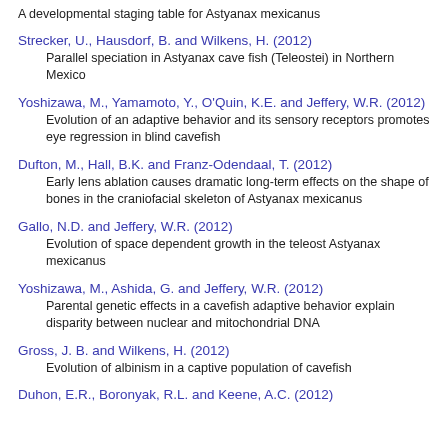A developmental staging table for Astyanax mexicanus
Strecker, U., Hausdorf, B. and Wilkens, H. (2012)
Parallel speciation in Astyanax cave fish (Teleostei) in Northern Mexico
Yoshizawa, M., Yamamoto, Y., O'Quin, K.E. and Jeffery, W.R. (2012)
Evolution of an adaptive behavior and its sensory receptors promotes eye regression in blind cavefish
Dufton, M., Hall, B.K. and Franz-Odendaal, T. (2012)
Early lens ablation causes dramatic long-term effects on the shape of bones in the craniofacial skeleton of Astyanax mexicanus
Gallo, N.D. and Jeffery, W.R. (2012)
Evolution of space dependent growth in the teleost Astyanax mexicanus
Yoshizawa, M., Ashida, G. and Jeffery, W.R. (2012)
Parental genetic effects in a cavefish adaptive behavior explain disparity between nuclear and mitochondrial DNA
Gross, J. B. and Wilkens, H. (2012)
Evolution of albinism in a captive population of cavefish
Duhon, E.R., Boronyak, R.L. and Keene, A.C. (2012)